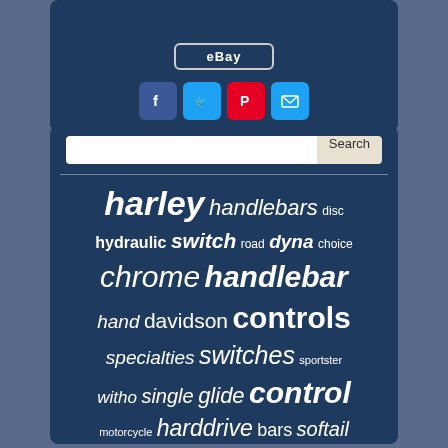[Figure (screenshot): eBay buy button with social sharing icons (Facebook, Twitter, Pinterest, Email) on dark blue panel]
[Figure (screenshot): Search bar and keyword tag cloud on dark blue panel showing motorcycle handlebar related terms: harley, handlebars, disc, hydraulic, switch, road, dyna, choice, chrome, handlebar, hand, davidson, controls, specialties, switches, sportster, witho, single, glide, control, motorcycle, harddrive, bars, softail, drag, handle]